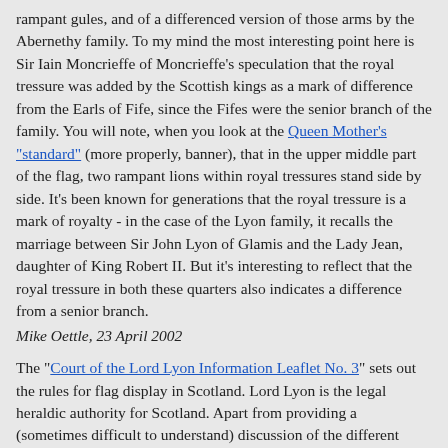rampant gules, and of a differenced version of those arms by the Abernethy family. To my mind the most interesting point here is Sir Iain Moncrieffe of Moncrieffe's speculation that the royal tressure was added by the Scottish kings as a mark of difference from the Earls of Fife, since the Fifes were the senior branch of the family. You will note, when you look at the Queen Mother's "standard" (more properly, banner), that in the upper middle part of the flag, two rampant lions within royal tressures stand side by side. It's been known for generations that the royal tressure is a mark of royalty - in the case of the Lyon family, it recalls the marriage between Sir John Lyon of Glamis and the Lady Jean, daughter of King Robert II. But it's interesting to reflect that the royal tressure in both these quarters also indicates a difference from a senior branch.
Mike Oettle, 23 April 2002
The "Court of the Lord Lyon Information Leaflet No. 3" sets out the rules for flag display in Scotland. Lord Lyon is the legal heraldic authority for Scotland. Apart from providing a (sometimes difficult to understand) discussion of the different kinds of heraldic flags used in Scotland (banners, standards, pipe banners, guidons pennons, and pinsels), how big they should be for what users and uses, and so on, the leaflet says regarding the red lion rampant flag:
"12. This is NOT a national flag and its use by citizens and